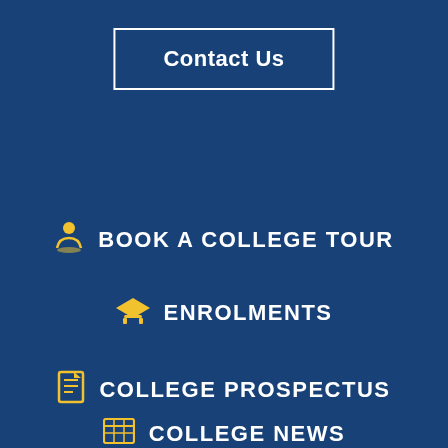Contact Us
BOOK A COLLEGE TOUR
ENROLMENTS
COLLEGE PROSPECTUS
COLLEGE NEWS
COLLEGE EVENTS